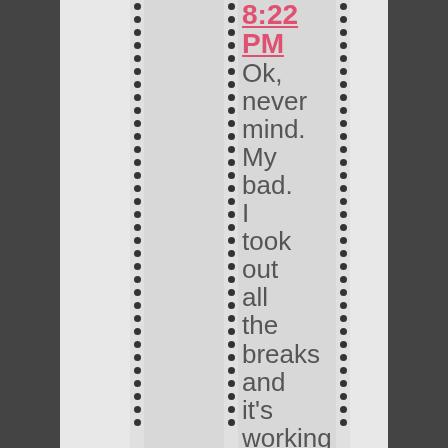8:22 PM
Ok, never mind. My bad. I took out all the breaks and it's working perfectly now. Had